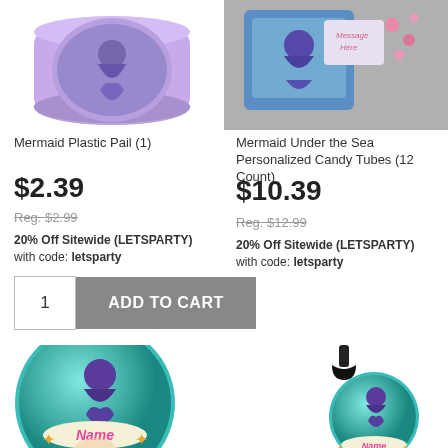[Figure (photo): Mermaid plastic pail product image - round purple pail with mermaid design]
Mermaid Plastic Pail (1)
$2.39
Reg. $2.99
20% Off Sitewide (LETSPARTY) with code: letsparty
[Figure (photo): Mermaid Under the Sea Personalized Candy Tubes product image with pink candies scattered]
Mermaid Under the Sea Personalized Candy Tubes (12 Count)
$10.39
Reg. $12.99
20% Off Sitewide (LETSPARTY) with code: letsparty
[Figure (photo): Round mermaid name tag ball - teal with purple mermaid silhouette and Name text with starfish]
[Figure (photo): Zipper pull mermaid tag - smaller round tag with black zipper pull clip, teal with purple mermaid and Name text]